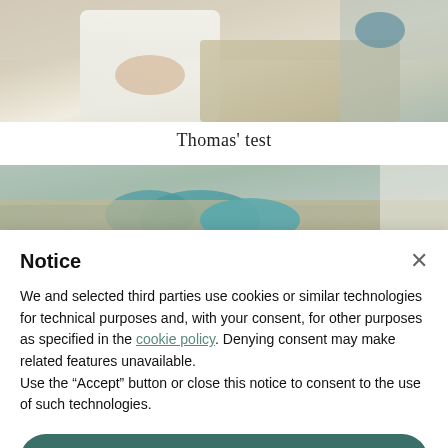[Figure (photo): Photo of a person's arm/hand and khaki pants, visible from waist down, appearing to be a medical examination scene (Thomas' test)]
Thomas' test
[Figure (photo): Second photo showing a medical examination, hands on patient's leg/hip area, teal/turquoise gloves visible]
Notice
We and selected third parties use cookies or similar technologies for technical purposes and, with your consent, for other purposes as specified in the cookie policy. Denying consent may make related features unavailable.
Use the "Accept" button or close this notice to consent to the use of such technologies.
Accept
Learn more and customise